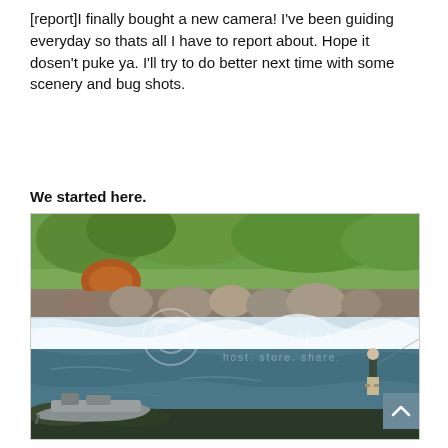[report]I finally bought a new camera! I've been guiding everyday so thats all I have to report about. Hope it dosen't puke ya. I'll try to do better next time with some scenery and bug shots.
We started here.
[Figure (photo): A river scene with a person fly fishing in the river on the right side, standing in waist-deep water. On the left is a drift boat pulled up near the bank. The background shows white water rapids, large boulders, and green shrubby vegetation. The image has a Photobucket watermark overlay reading 'photobucket host. store. share.' A grey back-to-top arrow button is visible in the lower right corner.]